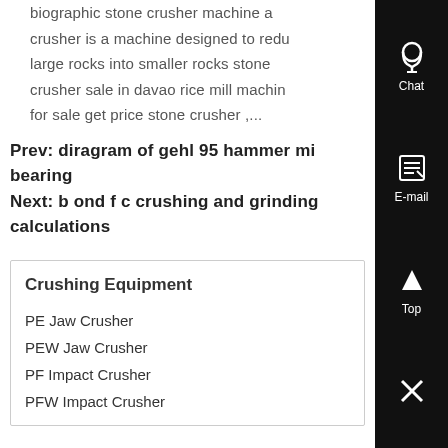biographic stone crusher machine a crusher is a machine designed to reduce large rocks into smaller rocks stone crusher sale in davao rice mill machine for sale get price stone crusher ,...
Prev: diragram of gehl 95 hammer mill bearing
Next: b ond f c crushing and grinding calculations
Crushing Equipment
PE Jaw Crusher
PEW Jaw Crusher
PF Impact Crusher
PFW Impact Crusher